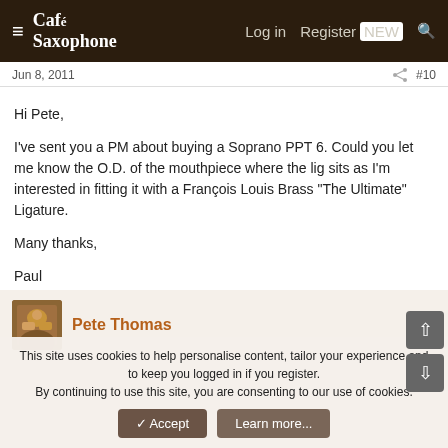Café Saxophone | Log in | Register NEW
Jun 8, 2011  #10
Hi Pete,

I've sent you a PM about buying a Soprano PPT 6. Could you let me know the O.D. of the mouthpiece where the lig sits as I'm interested in fitting it with a François Louis Brass "The Ultimate" Ligature.

Many thanks,

Paul
Pete Thomas
This site uses cookies to help personalise content, tailor your experience and to keep you logged in if you register.
By continuing to use this site, you are consenting to our use of cookies.